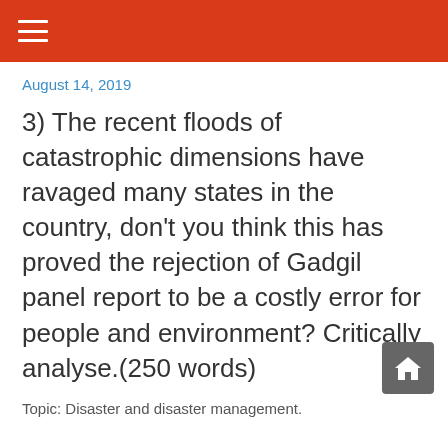≡
August 14, 2019
3) The recent floods of catastrophic dimensions have ravaged many states in the country, don't you think this has proved the rejection of Gadgil panel report to be a costly error for people and environment? Critically analyse.(250 words)
Topic: Disaster and disaster management.